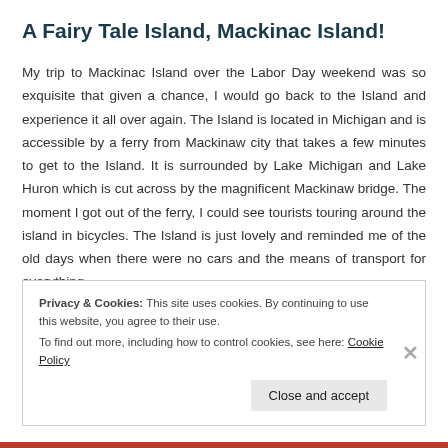A Fairy Tale Island, Mackinac Island!
My trip to Mackinac Island over the Labor Day weekend was so exquisite that given a chance, I would go back to the Island and experience it all over again. The Island is located in Michigan and is accessible by a ferry from Mackinaw city that takes a few minutes to get to the Island. It is surrounded by Lake Michigan and Lake Huron which is cut across by the magnificent Mackinaw bridge. The moment I got out of the ferry, I could see tourists touring around the island in bicycles. The Island is just lovely and reminded me of the old days when there were no cars and the means of transport for everything
Privacy & Cookies: This site uses cookies. By continuing to use this website, you agree to their use.
To find out more, including how to control cookies, see here: Cookie Policy
Close and accept